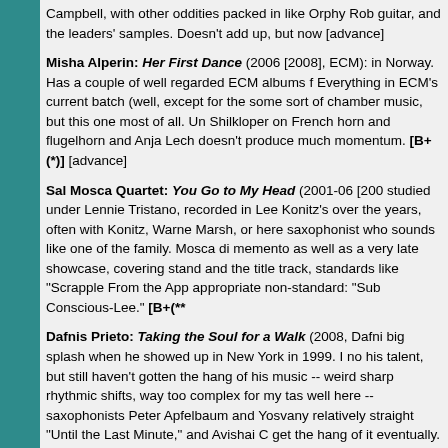Campbell, with other oddities packed in like Orphy Rob guitar, and the leaders' samples. Doesn't add up, but now [advance]
Misha Alperin: Her First Dance (2006 [2008], ECM): in Norway. Has a couple of well regarded ECM albums f Everything in ECM's current batch (well, except for the some sort of chamber music, but this one most of all. Un Shilkloper on French horn and flugelhorn and Anja Lech doesn't produce much momentum. [B+(*)] [advance]
Sal Mosca Quartet: You Go to My Head (2001-06 [200 studied under Lennie Tristano, recorded in Lee Konitz's over the years, often with Konitz, Warne Marsh, or here saxophonist who sounds like one of the family. Mosca di memento as well as a very late showcase, covering stand and the title track, standards like "Scrapple From the App appropriate non-standard: "Sub Conscious-Lee." [B+(**
Dafnis Prieto: Taking the Soul for a Walk (2008, Dafni big splash when he showed up in New York in 1999. I no his talent, but still haven't gotten the hang of his music -- weird sharp rhythmic shifts, way too complex for my tas well here -- saxophonists Peter Apfelbaum and Yosvany relatively straight "Until the Last Minute," and Avishai C get the hang of it eventually. [B+(*)]